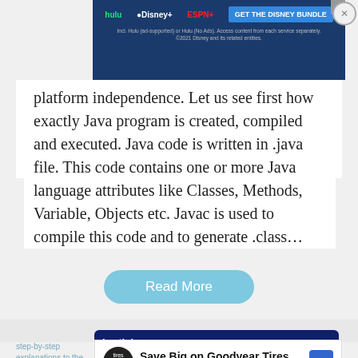[Figure (screenshot): Hulu Disney+ ESPN+ advertisement banner for The Disney Bundle with close button]
platform independence. Let us see first how exactly Java program is created, compiled and executed. Java code is written in .java file. This code contains one or more Java language attributes like Classes, Methods, Variable, Objects etc. Javac is used to compile this code and to generate .class…
[Figure (screenshot): Read More button in light blue rounded rectangle style]
[Figure (screenshot): Bartleby advertisement with dark blue background showing 'An easier way to' tagline in magenta italic text]
[Figure (screenshot): Save Big on Goodyear Tires - Virginia Tire & Auto of Ashburn advertisement]
step-by-step explanations to the questions.